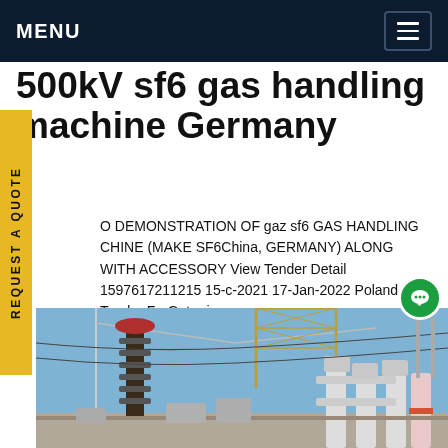MENU
500kV sf6 gas handling machine Germany
O DEMONSTRATION OF gaz sf6 GAS HANDLING CHINE (MAKE SF6China, GERMANY) ALONG WITH ACCESSORY View Tender Detail 1597617211215 15-c-2021 17-Jan-2022 Poland Tender ForGet pric
[Figure (photo): Photograph of high-voltage electrical substation equipment including insulators, transformers, and overhead line structures against a clear blue sky.]